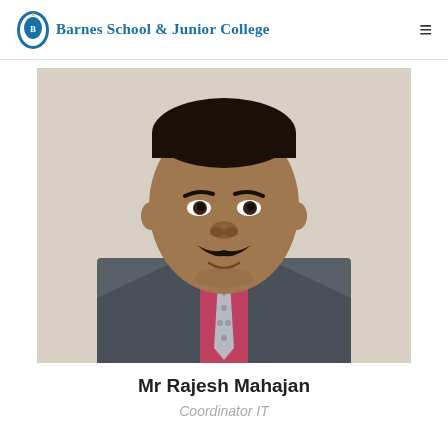Barnes School & Junior College
[Figure (photo): Headshot of Mr Rajesh Mahajan wearing a dark grey suit jacket, red/pink shirt, and grey patterned tie, with a moustache, smiling slightly, against a light background.]
Mr Rajesh Mahajan
Coordinator IT